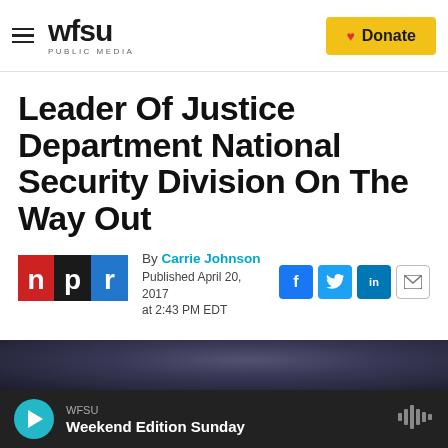wfsu PUBLIC MEDIA | Donate
Leader Of Justice Department National Security Division On The Way Out
By Carrie Johnson
Published April 20, 2017 at 2:43 PM EDT
[Figure (screenshot): NPR logo (red n, black p, blue r) alongside article byline and social sharing buttons (Facebook, Twitter, LinkedIn, Email)]
[Figure (photo): Partial photo at bottom of page, dark blurred image]
WFSU | Weekend Edition Sunday (audio player bar)